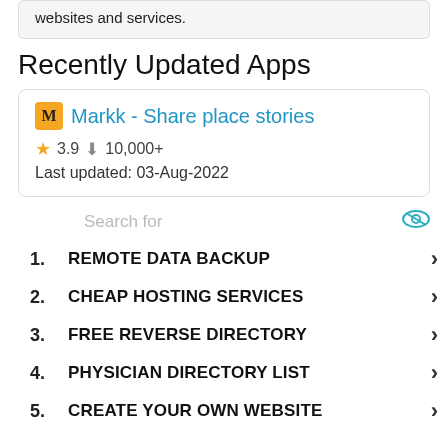websites and services.
Recently Updated Apps
Markk - Share place stories
★ 3.9  ⬇ 10,000+
Last updated: 03-Aug-2022
Search for
1. REMOTE DATA BACKUP
2. CHEAP HOSTING SERVICES
3. FREE REVERSE DIRECTORY
4. PHYSICIAN DIRECTORY LIST
5. CREATE YOUR OWN WEBSITE